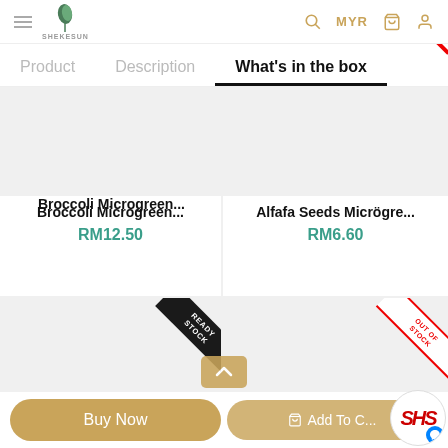SHEKESUN - MYR - Cart - Account
Product | Description | What's in the box
[Figure (screenshot): Product image placeholder for Broccoli Microgreen]
Broccoli Microgreen...
RM12.50
[Figure (screenshot): Product image placeholder for Alfafa Seeds Microgreen]
Alfafa Seeds Micrögre...
RM6.60
[Figure (screenshot): Product image with READY STOCK badge]
[Figure (screenshot): Product image with OUT OF STOCK badge]